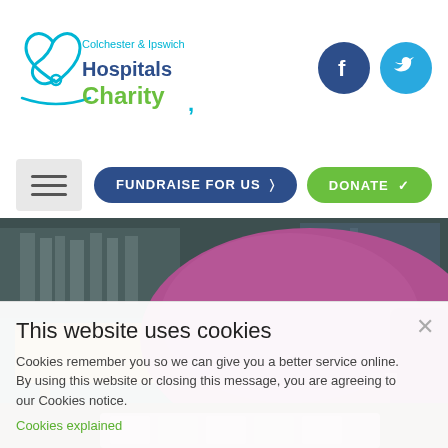[Figure (logo): Colchester & Ipswich Hospitals Charity logo with stethoscope heart icon, text in blue and green]
[Figure (illustration): Facebook and Twitter social media icon circles in dark blue and light blue]
[Figure (illustration): Hamburger menu icon (three horizontal lines) in grey box]
[Figure (illustration): FUNDRAISE FOR US button (dark blue pill-shaped) and DONATE button (green pill-shaped)]
[Figure (photo): Photo of a cafe/lounge area with purple booth seating and wooden tables]
This website uses cookies
Cookies remember you so we can give you a better service online. By using this website or closing this message, you are agreeing to our Cookies notice.
Cookies explained